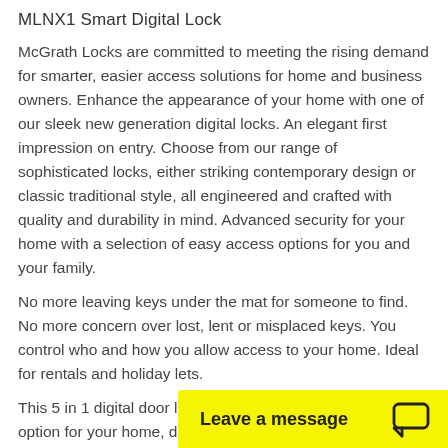MLNX1 Smart Digital Lock
McGrath Locks are committed to meeting the rising demand for smarter, easier access solutions for home and business owners. Enhance the appearance of your home with one of our sleek new generation digital locks. An elegant first impression on entry. Choose from our range of sophisticated locks, either striking contemporary design or classic traditional style, all engineered and crafted with quality and durability in mind. Advanced security for your home with a selection of easy access options for you and your family.
No more leaving keys under the mat for someone to find. No more concern over lost, lent or misplaced keys. You control who and how you allow access to your home. Ideal for rentals and holiday lets.
This 5 in 1 digital door lock represents a classic easy entry option for your home, digital lock, with Bluetooth App, pin code, RFID, fingerprint and manual key to provid…